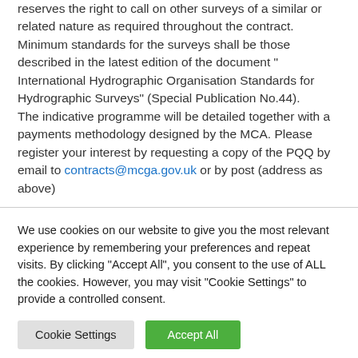reserves the right to call on other surveys of a similar or related nature as required throughout the contract. Minimum standards for the surveys shall be those described in the latest edition of the document " International Hydrographic Organisation Standards for Hydrographic Surveys" (Special Publication No.44).
The indicative programme will be detailed together with a payments methodology designed by the MCA. Please register your interest by requesting a copy of the PQQ by email to contracts@mcga.gov.uk or by post (address as above)
We use cookies on our website to give you the most relevant experience by remembering your preferences and repeat visits. By clicking "Accept All", you consent to the use of ALL the cookies. However, you may visit "Cookie Settings" to provide a controlled consent.